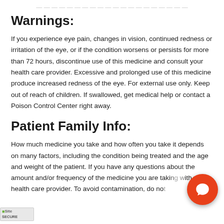Warnings:
If you experience eye pain, changes in vision, continued redness or irritation of the eye, or if the condition worsens or persists for more than 72 hours, discontinue use of this medicine and consult your health care provider. Excessive and prolonged use of this medicine produce increased redness of the eye. For external use only. Keep out of reach of children. If swallowed, get medical help or contact a Poison Control Center right away.
Patient Family Info:
How much medicine you take and how often you take it depends on many factors, including the condition being treated and the age and weight of the patient. If you have any questions about the amount and/or frequency of the medicine you are taking with your health care provider. To avoid contamination, do not touch the tip of the container to any surface. Do not